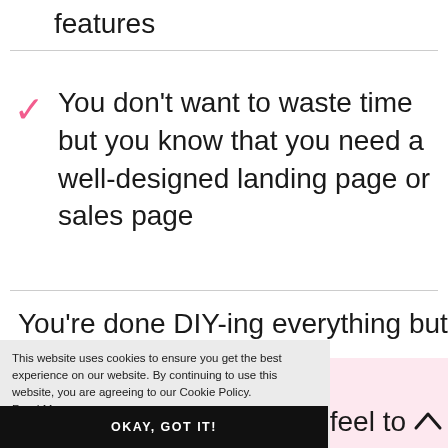features
You don't want to waste time but you know that you need a well-designed landing page or sales page
You're done DIY-ing everything but not
This website uses cookies to ensure you get the best experience on our website. By continuing to use this website, you are agreeing to our Cookie Policy. Read More
OKAY, GOT IT!
it feel to